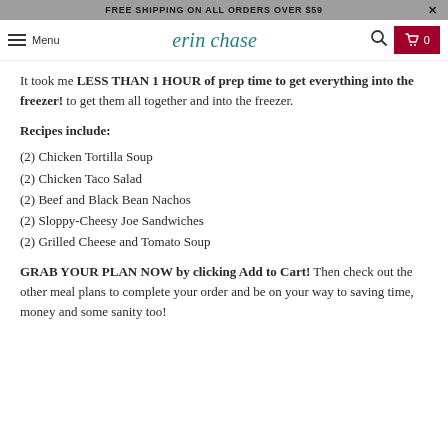FREE SHIPPING ON ALL ORDERS OVER $59
erin chase — Menu / Search / Cart 0
It took me LESS THAN 1 HOUR of prep time to get everything into the freezer! to get them all together and into the freezer.
Recipes include:
(2) Chicken Tortilla Soup
(2) Chicken Taco Salad
(2) Beef and Black Bean Nachos
(2) Sloppy-Cheesy Joe Sandwiches
(2) Grilled Cheese and Tomato Soup
GRAB YOUR PLAN NOW by clicking Add to Cart! Then check out the other meal plans to complete your order and be on your way to saving time, money and some sanity too!